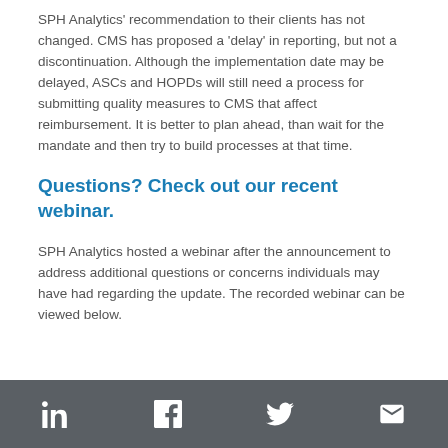SPH Analytics' recommendation to their clients has not changed. CMS has proposed a 'delay' in reporting, but not a discontinuation. Although the implementation date may be delayed, ASCs and HOPDs will still need a process for submitting quality measures to CMS that affect reimbursement. It is better to plan ahead, than wait for the mandate and then try to build processes at that time.
Questions? Check out our recent webinar.
SPH Analytics hosted a webinar after the announcement to address additional questions or concerns individuals may have had regarding the update. The recorded webinar can be viewed below.
Social media links: LinkedIn, Facebook, Twitter, Email